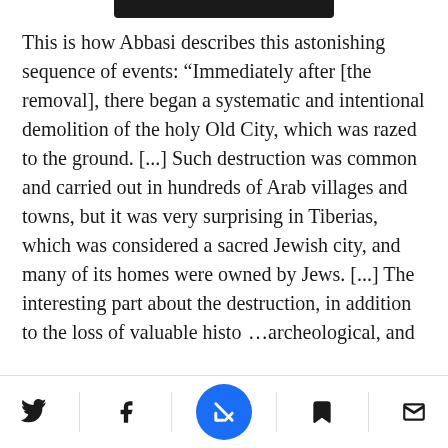This is how Abbasi describes this astonishing sequence of events: “Immediately after [the removal], there began a systematic and intentional demolition of the holy Old City, which was razed to the ground. [...] Such destruction was common and carried out in hundreds of Arab villages and towns, but it was very surprising in Tiberias, which was considered a sacred Jewish city, and many of its homes were owned by Jews. [...] The interesting part about the destruction, in addition to the loss of valuable histo…archeological, and